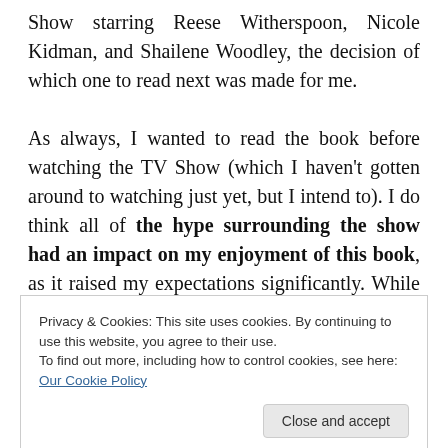Show starring Reese Witherspoon, Nicole Kidman, and Shailene Woodley, the decision of which one to read next was made for me.

As always, I wanted to read the book before watching the TV Show (which I haven't gotten around to watching just yet, but I intend to). I do think all of the hype surrounding the show had an impact on my enjoyment of this book, as it raised my expectations significantly. While the premise was highly intriguing, the characters well-developed (Madeline is a personal favourite), and
Privacy & Cookies: This site uses cookies. By continuing to use this website, you agree to their use.
To find out more, including how to control cookies, see here: Our Cookie Policy
Close and accept
because the book had me gripped, but because it